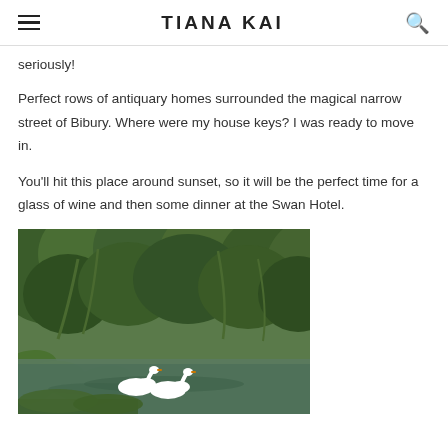TIANA KAI
seriously!
Perfect rows of antiquary homes surrounded the magical narrow street of Bibury. Where were my house keys? I was ready to move in.
You'll hit this place around sunset, so it will be the perfect time for a glass of wine and then some dinner at the Swan Hotel.
[Figure (photo): Two white swans swimming on a calm river surrounded by lush green trees and large-leafed plants along the bank.]